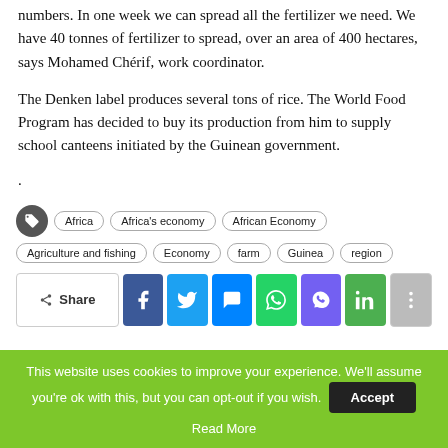numbers. In one week we can spread all the fertilizer we need. We have 40 tonnes of fertilizer to spread, over an area of 400 hectares, says Mohamed Chérif, work coordinator.
The Denken label produces several tons of rice. The World Food Program has decided to buy its production from him to supply school canteens initiated by the Guinean government.
.
Africa  Africa's economy  African Economy  Agriculture and fishing  Economy  farm  Guinea  region
Share
This website uses cookies to improve your experience. We'll assume you're ok with this, but you can opt-out if you wish.
Read More